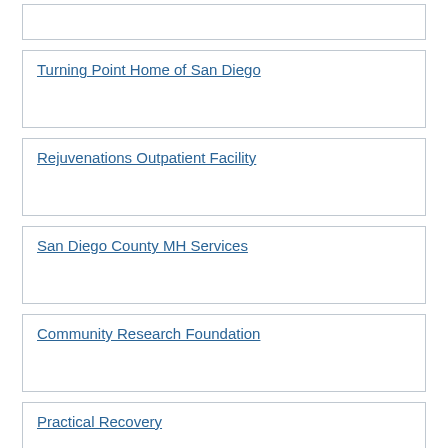Turning Point Home of San Diego
Rejuvenations Outpatient Facility
San Diego County MH Services
Community Research Foundation
Practical Recovery